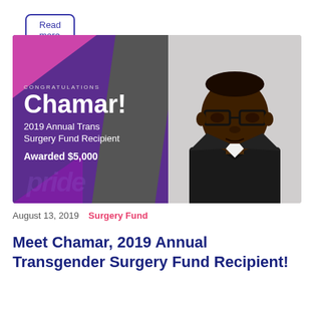Read more
[Figure (photo): Congratulations banner for Chamar, 2019 Annual Trans Surgery Fund Recipient, Awarded $5,000. Left side has purple background with pink and magenta triangle shapes, gray diagonal stripe, green vertical strip. Right side shows a professional photo of a Black man with glasses wearing a black tuxedo. Text overlay reads: CONGRATULATIONS, Chamar!, 2019 Annual Trans Surgery Fund Recipient, Awarded $5,000.]
August 13, 2019   Surgery Fund
Meet Chamar, 2019 Annual Transgender Surgery Fund Recipient!
Read more